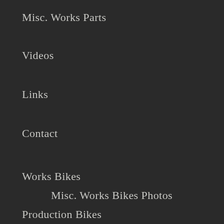Misc. Works Parts
Videos
Links
Contact
Works Bikes
Misc. Works Bikes Photos
Production Bikes